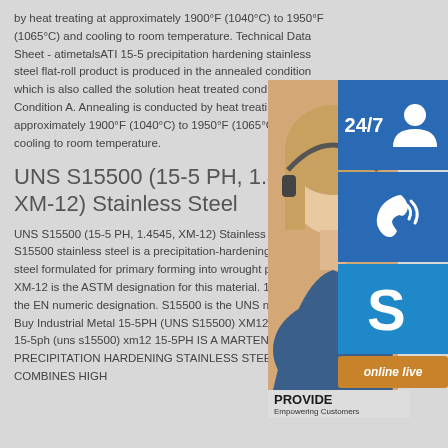by heat treating at approximately 1900°F (1040°C) to 1950°F (1065°C) and cooling to room temperature. Technical Data Sheet - atimetalsATI 15-5 precipitation hardening stainless steel flat-roll product is produced in the annealed condition which is also called the solution heat treated condition or Condition A. Annealing is conducted by heat treating at approximately 1900°F (1040°C) to 1950°F (1065°C) and cooling to room temperature.
UNS S15500 (15-5 PH, 1.4545, XM-12) Stainless Steel
UNS S15500 (15-5 PH, 1.4545, XM-12) Stainless Steel. S15500 stainless steel is a precipitation-hardening stainless steel formulated for primary forming into wrought products. XM-12 is the ASTM designation for this material. 1.4545 is the EN numeric designation. S15500 is the UNS number. Buy Industrial Metal 15-5PH (UNS S15500) XM12 Stainless 15-5ph (uns s15500) xm12 15-5PH IS A MARTENSITIC PRECIPITATION HARDENING STAINLESS STEEL THAT COMBINES HIGH
[Figure (infographic): Customer service sidebar with photo of representative, 24/7 button, phone icon button, Skype icon button, PROVIDE branding, and online live button]